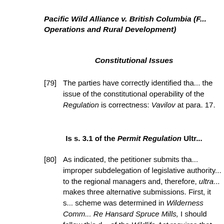Pacific Wild Alliance v. British Columbia (F... Operations and Rural Development)
Constitutional Issues
[79]    The parties have correctly identified that the issue of the constitutional operability of the Regulation is correctness: Vavilov at para. 17.
Is s. 3.1 of the Permit Regulation Ultr...
[80]    As indicated, the petitioner submits that improper subdelegation of legislative authority to the regional managers and, therefore, ultra ... makes three alternative submissions. First, it s... scheme was determined in Wilderness Comm... Re Hansard Spruce Mills, I should follow this d... of the Wildlife Act requires that Cabinet prom...